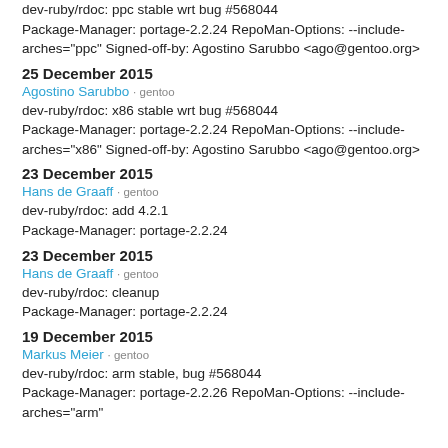dev-ruby/rdoc: ppc stable wrt bug #568044
Package-Manager: portage-2.2.24 RepoMan-Options: --include-arches="ppc" Signed-off-by: Agostino Sarubbo <ago@gentoo.org>
25 December 2015
Agostino Sarubbo · gentoo
dev-ruby/rdoc: x86 stable wrt bug #568044
Package-Manager: portage-2.2.24 RepoMan-Options: --include-arches="x86" Signed-off-by: Agostino Sarubbo <ago@gentoo.org>
23 December 2015
Hans de Graaff · gentoo
dev-ruby/rdoc: add 4.2.1
Package-Manager: portage-2.2.24
23 December 2015
Hans de Graaff · gentoo
dev-ruby/rdoc: cleanup
Package-Manager: portage-2.2.24
19 December 2015
Markus Meier · gentoo
dev-ruby/rdoc: arm stable, bug #568044
Package-Manager: portage-2.2.26 RepoMan-Options: --include-arches="arm"